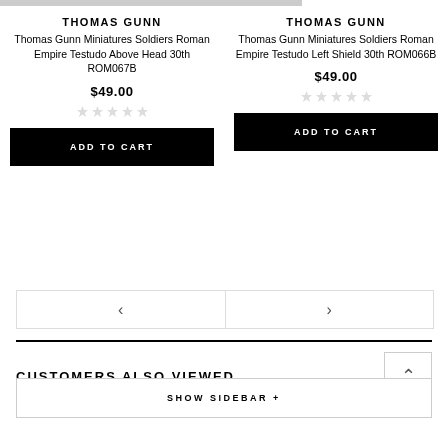THOMAS GUNN
Thomas Gunn Miniatures Soldiers Roman Empire Testudo Above Head 30th ROM067B
$49.00
ADD TO CART
THOMAS GUNN
Thomas Gunn Miniatures Soldiers Roman Empire Testudo Left Shield 30th ROM066B
$49.00
ADD TO CART
CUSTOMERS ALSO VIEWED
SHOW SIDEBAR +